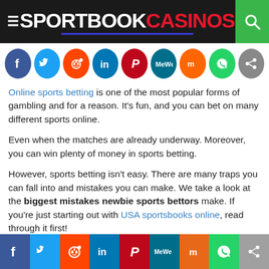SPORTBOOK CASINOS
[Figure (infographic): Row of social media share icons: Facebook, Twitter, Reddit, LinkedIn, Pinterest, MeWe, Mix, WhatsApp, Share]
Online sports betting is one of the most popular forms of gambling and for a reason. It's fun, and you can bet on many different sports online.
Even when the matches are already underway. Moreover, you can win plenty of money in sports betting.
However, sports betting isn't easy. There are many traps you can fall into and mistakes you can make. We take a look at the biggest mistakes newbie sports bettors make. If you're just starting out with USA sportsbooks online, read through it first!
Social share bar: Facebook, Twitter, Reddit, LinkedIn, Pinterest, MeWe, Mix, WhatsApp, Share